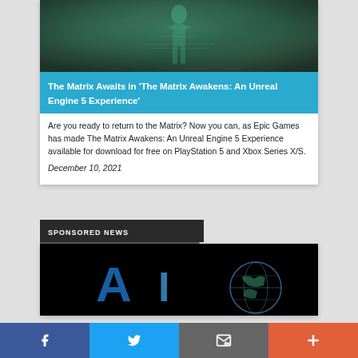[Figure (photo): Dark teal-toned image of a human figure, likely from The Matrix Awakens game]
The Matrix Awaits in ‘The Matrix Awakens: An Unreal Engine 5 Experience’
Are you ready to return to the Matrix? Now you can, as Epic Games has made The Matrix Awakens: An Unreal Engine 5 Experience available for download for free on PlayStation 5 and Xbox Series X/S.
December 10, 2021
SPONSORED NEWS
[Figure (screenshot): Dark background image with blue letter graphics, likely a game or tech advertisement]